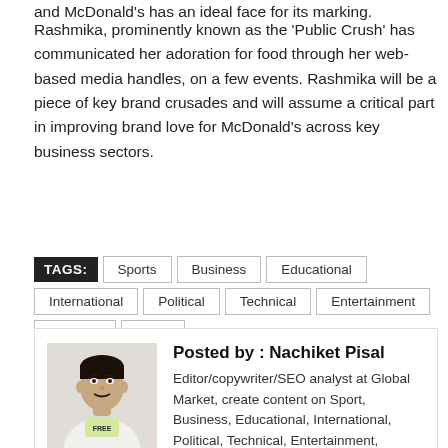and McDonald's has an ideal face for its marking.
Rashmika, prominently known as the 'Public Crush' has communicated her adoration for food through her web-based media handles, on a few events. Rashmika will be a piece of key brand crusades and will assume a critical part in improving brand love for McDonald's across key business sectors.
TAGS: Sports Business Educational International Political Technical Entertainment LifeStyle Other
Posted by : Nachiket Pisal
Editor/copywriter/SEO analyst at Global Market, create content on Sport, Business, Educational, International, Political, Technical, Entertainment, Lifestyle.